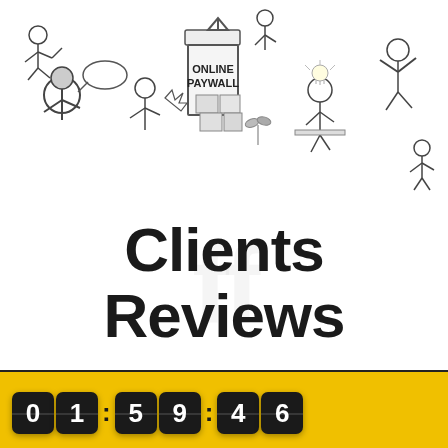[Figure (illustration): Black and white cartoon illustration of various people reacting to an 'ONLINE PAYWALL' sign/wall. Some people appear frustrated, surprised, or joyful around the paywall structure.]
Clients Reviews
Offer expires in
01:59:46